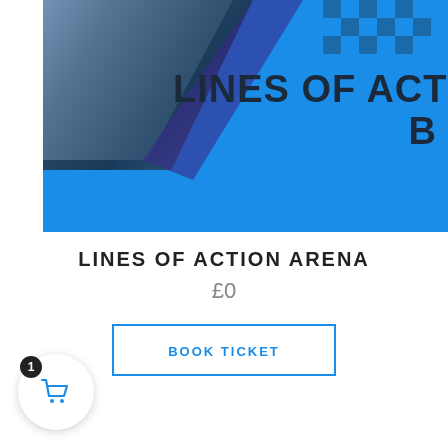[Figure (photo): Promotional image for Lines of Action Arena event — blue background with partially visible person and text 'LINES OF ACT' and 'B' overlaid in dark bold letters]
LINES OF ACTION ARENA
£0
BOOK TICKET
[Figure (other): Shopping cart icon in a white circle with a badge showing '1']